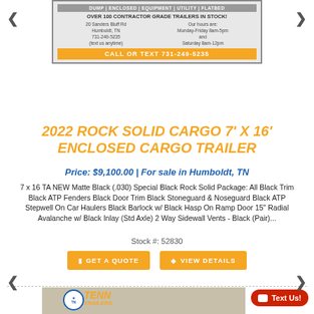[Figure (screenshot): Tenn Trailers advertisement banner showing store info and orange call-to-action bar saying CALL OR TEXT 731-249-5235]
2022 ROCK SOLID CARGO 7' X 16' ENCLOSED CARGO TRAILER
Price: $9,100.00 | For sale in Humboldt, TN
7 x 16 TA NEW Matte Black (.030) Special Black Rock Solid Package: All Black Trim Black ATP Fenders Black Door Trim Black Stoneguard & Noseguard Black ATP Stepwell On Car Haulers Black Barlock w/ Black Hasp On Ramp Door 15" Radial Avalanche w/ Black Inlay (Std Axle) 2 Way Sidewall Vents - Black (Pair)...
Stock #: 52830
[Figure (screenshot): Bottom portion of Tenn Trailers website showing a trailer image with Tenn Trailers logo and a red Text Us button]